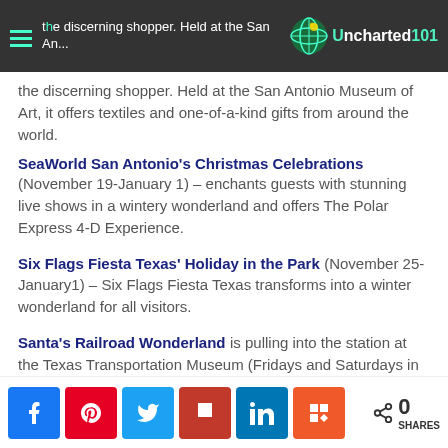the discerning shopper. Held at the San Antonio Museum of Art, it offers textiles and one-of-a-kind gifts from around the world. | Uncharted101
the discerning shopper. Held at the San Antonio Museum of Art, it offers textiles and one-of-a-kind gifts from around the world.
SeaWorld San Antonio’s Christmas Celebrations (November 19-January 1) – enchants guests with stunning live shows in a wintery wonderland and offers The Polar Express 4-D Experience.
Six Flags Fiesta Texas’ Holiday in the Park (November 25-January1) – Six Flags Fiesta Texas transforms into a winter wonderland for all visitors.
Santa’s Railroad Wonderland is pulling into the station at the Texas Transportation Museum (Fridays and Saturdays in
0 SHARES